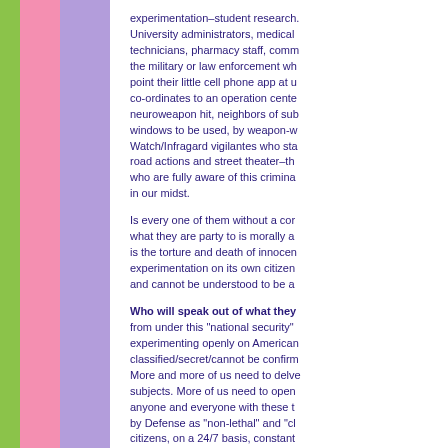experimentation–student research. University administrators, medical technicians, pharmacy staff, comm the military or law enforcement wh point their little cell phone app at u co-ordinates to an operation cente neuroweapon hit, neighbors of sub windows to be used, by weapon-w Watch/Infragard vigilantes who sta road actions and street theater–th who are fully aware of this crimina in our midst.
Is every one of them without a co what they are party to is morally a is the torture and death of innocen experimentation on its own citizen and cannot be understood to be a
Who will speak out of what they from under this "national security" experimenting openly on American classified/secret/cannot be confirm More and more of us need to delv subjects. More of us need to oper anyone and everyone with these t by Defense as "non-lethal" and "c citizens, on a 24/7 basis, constant ultimately-lethal, for they promote which permit the remote biolog human beings–are in our midst n not have to use them, we can exe